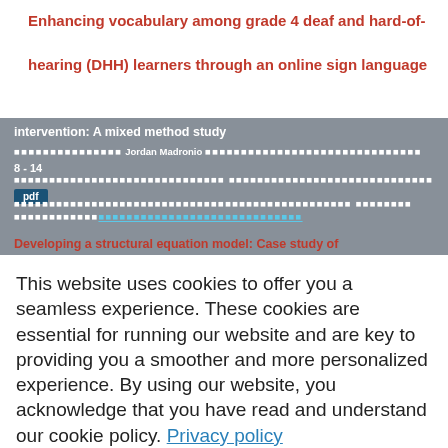Enhancing vocabulary among grade 4 deaf and hard-of-hearing (DHH) learners through an online sign language intervention: A mixed method study
Jordan Madronio
8 - 14
pdf
[Thai text lines]
Developing a structural equation model: Case study of Thai port developing
Ronnakrit Settadalee, Thanyaphat Muangpan
15 - 19
pdf
This website uses cookies to offer you a seamless experience. These cookies are essential for running our website and are key to providing you a smoother and more personalized experience. By using our website, you acknowledge that you have read and understand our cookie policy. Privacy policy
Accept
Travelers, merchants, and foreigners appeared in facial stucco sculptures in Dvaravati humans in Nakhon Pathom Province
Supitchar Jindawattanaphum
20 - 24